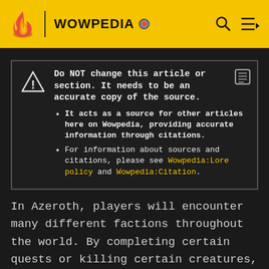WOWPEDIA
Do NOT change this article or section. It needs to be an accurate copy of the source.
• It acts as a source for other articles here on Wowpedia, providing accurate information through citations.
• For information about sources and citations, please see Wowpedia:Lore policy and Wowpedia:Citation.
In Azeroth, players will encounter many different factions throughout the world. By completing certain quests or killing certain creatures, players are able to gain favor with some of these factions. Gaining reputation with certain factions allows players to purchase items or undertake quests that are